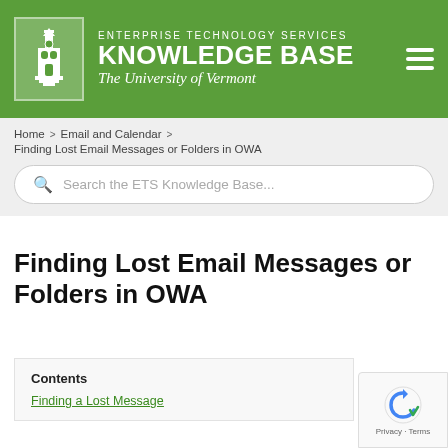[Figure (logo): University of Vermont Enterprise Technology Services Knowledge Base header with green background, UVM tower logo, and hamburger menu icon]
ENTERPRISE TECHNOLOGY SERVICES KNOWLEDGE BASE The University of Vermont
Home > Email and Calendar > Finding Lost Email Messages or Folders in OWA
Search the ETS Knowledge Base...
Finding Lost Email Messages or Folders in OWA
Contents
Finding a Lost Message